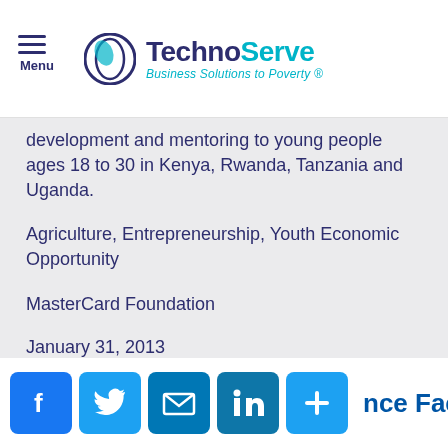TechnoServe — Business Solutions to Poverty
development and mentoring to young people ages 18 to 30 in Kenya, Rwanda, Tanzania and Uganda.
Agriculture, Entrepreneurship, Youth Economic Opportunity
MasterCard Foundation
January 31, 2013
nce Facility